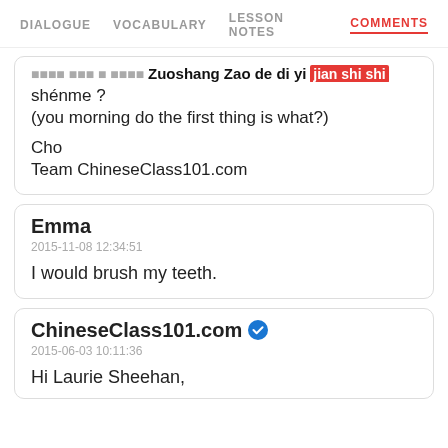DIALOGUE  VOCABULARY  LESSON NOTES  COMMENTS
...Zuoshang Zao de di yi jian shi shi shenme ?
(you morning do the first thing is what?)
Cho
Team ChineseClass101.com
Emma
2015-11-08 12:34:51
I would brush my teeth.
ChineseClass101.com
2015-06-03 10:11:36
Hi Laurie Sheehan,